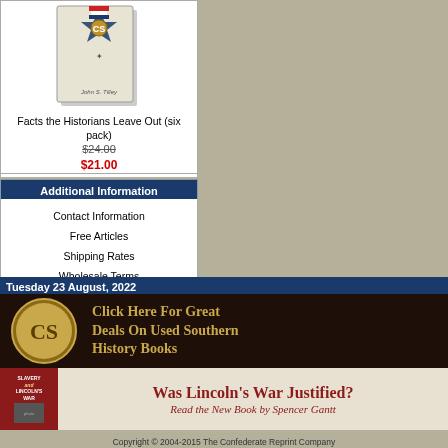[Figure (photo): Book cover image for 'Facts the Historians Leave Out (six pack)' showing a book with Confederate insignia]
Facts the Historians Leave Out (six pack)
$24.00
$21.00
Additional Information
Contact Information
Free Articles
Shipping Rates
Wholesale Terms
Tuesday 23 August, 2022
[Figure (infographic): Dark banner with CS medallion logo and text: Click Here For Great Deals On Used Southern History Books]
[Figure (infographic): Banner for 'Slavery and Lincoln's War' book: Was Lincoln's War Justified? Read the New Book by Spencer Gantt]
Copyright © 2004-2015 The Confederate Reprint Company
We Are Your Internet Source For Confederate Books!